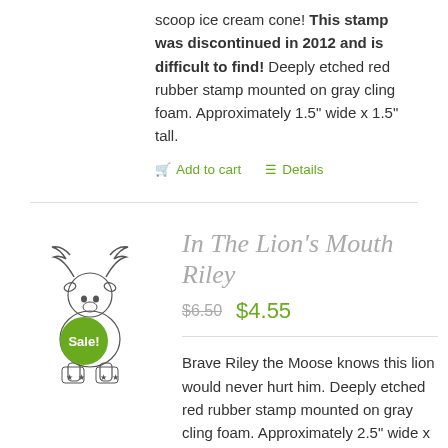scoop ice cream cone! This stamp was discontinued in 2012 and is difficult to find! Deeply etched red rubber stamp mounted on gray cling foam. Approximately 1.5" wide x 1.5" tall.
Add to cart   Details
[Figure (illustration): Illustration of Riley the Moose character in a lion's mouth pose, with a 'Sale!' green badge overlay]
In The Lion's Mouth Riley
$6.50  $4.55
Brave Riley the Moose knows this lion would never hurt him. Deeply etched red rubber stamp mounted on gray cling foam. Approximately 2.5" wide x 2.5" tall.